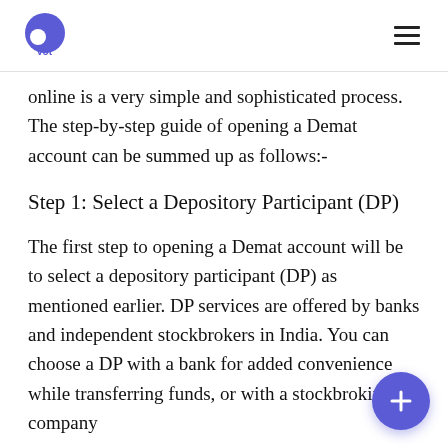Pvot logo and navigation
online is a very simple and sophisticated process. The step-by-step guide of opening a Demat account can be summed up as follows:-
Step 1: Select a Depository Participant (DP)
The first step to opening a Demat account will be to select a depository participant (DP) as mentioned earlier. DP services are offered by banks and independent stockbrokers in India. You can choose a DP with a bank for added convenience while transferring funds, or with a stockbroking company